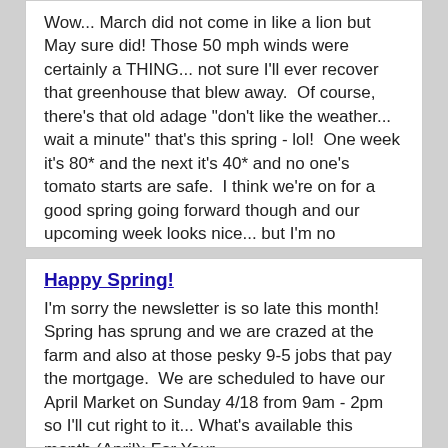Wow... March did not come in like a lion but May sure did! Those 50 mph winds were certainly a THING... not sure I'll ever recover that greenhouse that blew away.  Of course, there's that old adage "don't like the weather... wait a minute" that's this spring - lol!  One week it's 80* and the next it's 40* and no one's tomato starts are safe.  I think we're on for a good spring going forward though and our upcoming week looks nice... but I'm no meteorologist .We [...]
Happy Spring!
I'm sorry the newsletter is so late this month!  Spring has sprung and we are crazed at the farm and also at those pesky 9-5 jobs that pay the mortgage.  We are scheduled to have our April Market on Sunday 4/18 from 9am - 2pm so I'll cut right to it... What's available this month (April): For Your